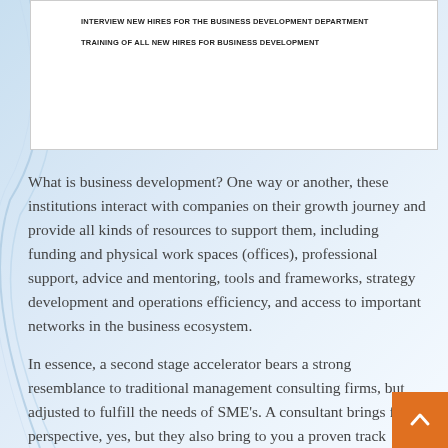| INTERVIEW NEW HIRES FOR THE BUSINESS DEVELOPMENT DEPARTMENT |
| TRAINING OF ALL NEW HIRES FOR BUSINESS DEVELOPMENT |
What is business development? One way or another, these institutions interact with companies on their growth journey and provide all kinds of resources to support them, including funding and physical work spaces (offices), professional support, advice and mentoring, tools and frameworks, strategy development and operations efficiency, and access to important networks in the business ecosystem.
In essence, a second stage accelerator bears a strong resemblance to traditional management consulting firms, but adjusted to fulfill the needs of SME's. A consultant brings fresh perspective, yes, but they also bring to you a proven track